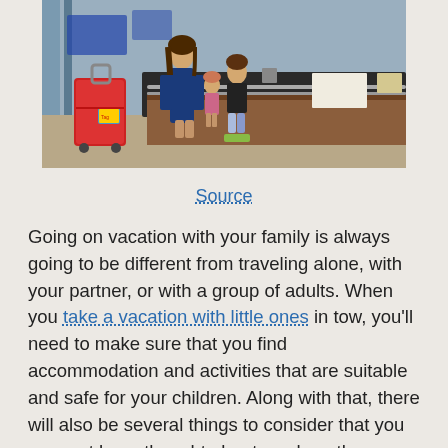[Figure (photo): A family with children at a hotel check-in counter. A woman in a blue dress and children stand at a wooden reception desk with a large red suitcase with a colorful luggage tag.]
Source
Going on vacation with your family is always going to be different from traveling alone, with your partner, or with a group of adults. When you take a vacation with little ones in tow, you'll need to make sure that you find accommodation and activities that are suitable and safe for your children. Along with that, there will also be several things to consider that you may not have thought about, such as the distance